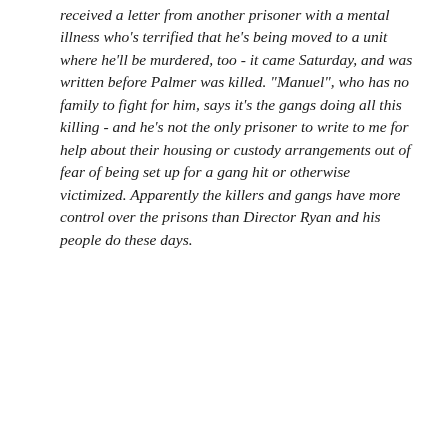received a letter from another prisoner with a mental illness who's terrified that he's being moved to a unit where he'll be murdered, too - it came Saturday, and was written before Palmer was killed. "Manuel", who has no family to fight for him, says it's the gangs doing all this killing - and he's not the only prisoner to write to me for help about their housing or custody arrangements out of fear of being set up for a gang hit or otherwise victimized. Apparently the killers and gangs have more control over the prisons than Director Ryan and his people do these days.